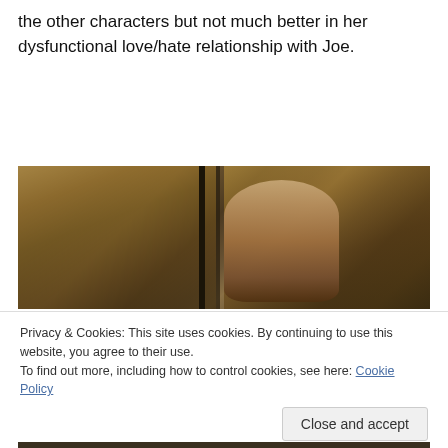the other characters but not much better in her dysfunctional love/hate relationship with Joe.
[Figure (photo): Dark cinematic still from a film or TV show: a young woman with long dark hair wearing a light-colored turtleneck top, looking over her shoulder. The background shows dark, aged industrial or warehouse windows with warm amber/brown tones.]
Privacy & Cookies: This site uses cookies. By continuing to use this website, you agree to their use.
To find out more, including how to control cookies, see here: Cookie Policy